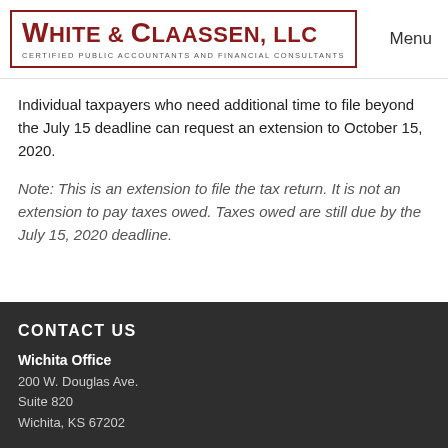WHITE & CLAASSEN, LLC — CERTIFIED PUBLIC ACCOUNTANTS AND FINANCIAL CONSULTANTS | Menu
Individual taxpayers who need additional time to file beyond the July 15 deadline can request an extension to October 15, 2020.
Note: This is an extension to file the tax return. It is not an extension to pay taxes owed. Taxes owed are still due by the July 15, 2020 deadline.
CONTACT US
Wichita Office
200 W. Douglas Ave.
Suite 820
Wichita, KS 67202